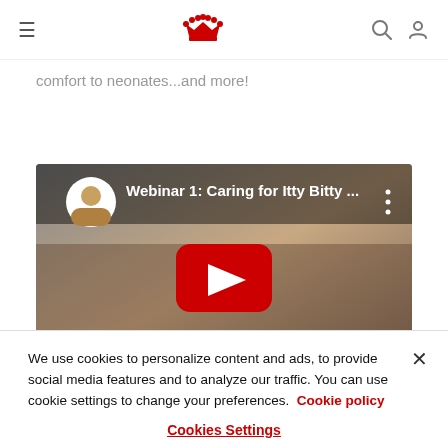Royal Canin navigation bar with hamburger menu, crown logo, search and profile icons
comfort to neonates...and more!
[Figure (screenshot): YouTube video thumbnail for 'Webinar 1: Caring for Itty Bitty ...' showing a kitten being bottle-fed, with a red play button overlay and a circular channel avatar in the top left.]
We use cookies to personalize content and ads, to provide social media features and to analyze our traffic. You can use cookie settings to change your preferences. Cookie policy
Cookies Settings